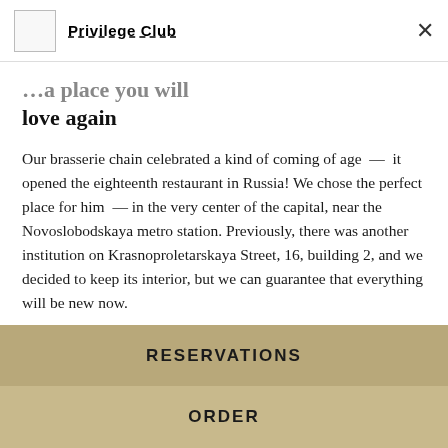Privilege Club
…a place you will love again
Our brasserie chain celebrated a kind of coming of age — it opened the eighteenth restaurant in Russia! We chose the perfect place for him — in the very center of the capital, near the Novoslobodskaya metro station. Previously, there was another institution on Krasnoproletarskaya Street, 16, building 2, and we decided to keep its interior, but we can guarantee that everything will be new now.
The new Lambic restaurant will have everything you love about us: an excellent selection of dishes, a cozy atmosphere and high-quality service. And, of course, the
RESERVATIONS
ORDER